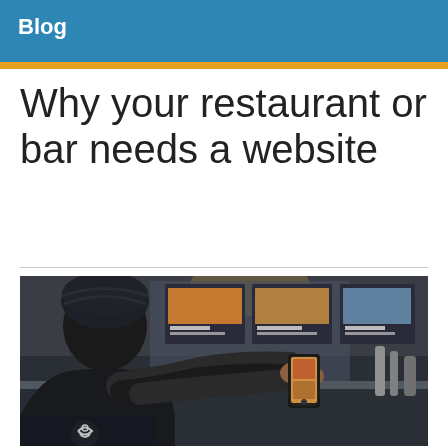Blog
Why your restaurant or bar needs a website
[Figure (photo): Person wearing a dark beanie hat photographing a food stall menu board with their smartphone at night]